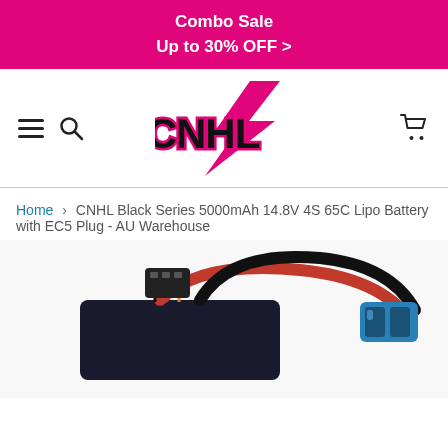Combo Sale
Up to 30% OFF >
[Figure (logo): CNHL brand logo with pink lightning bolt and bold stylized CNHL text]
Home > CNHL Black Series 5000mAh 14.8V 4S 65C Lipo Battery with EC5 Plug - AU Warehouse
[Figure (photo): Product photo showing LiPo battery wiring with black, red cables and blue EC5 connector plug, partially cropped at bottom]